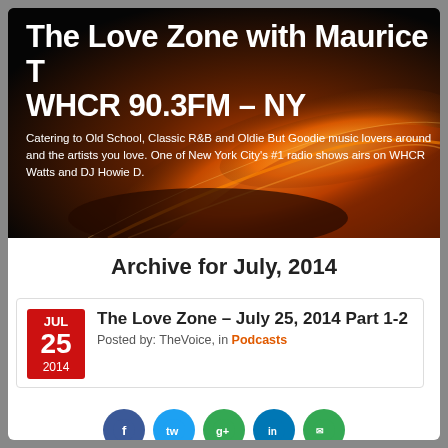[Figure (photo): Dark background with orange flame/fire swirl abstract image serving as banner header for The Love Zone radio show]
The Love Zone with Maurice T WHCR 90.3FM – NY
Catering to Old School, Classic R&B and Oldie But Goodie music lovers around and the artists you love. One of New York City's #1 radio shows airs on WHCR Watts and DJ Howie D.
Archive for July, 2014
The Love Zone – July 25, 2014 Part 1-2
Posted by: TheVoice, in Podcasts